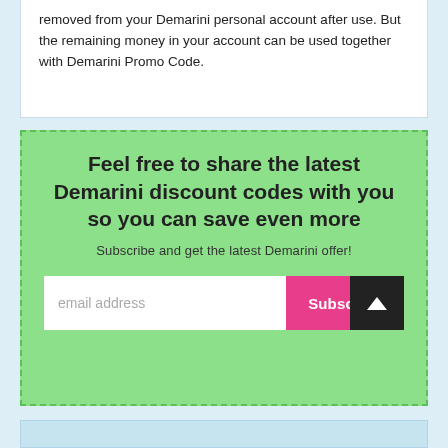removed from your Demarini personal account after use. But the remaining money in your account can be used together with Demarini Promo Code.
Feel free to share the latest Demarini discount codes with you so you can save even more
Subscribe and get the latest Demarini offer!